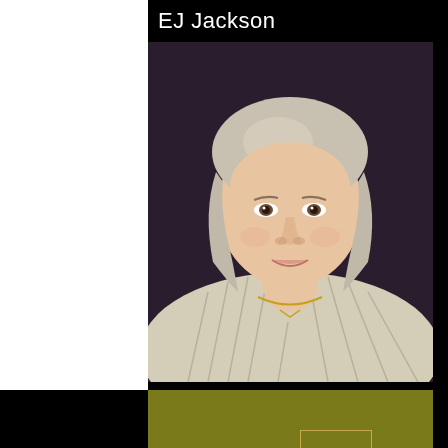EJ Jackson
[Figure (photo): Professional headshot of EJ Jackson, a woman with short gray-blonde bob hair, wearing a light striped sweater/jacket and a thin gold necklace, smiling, photographed against a dark background.]